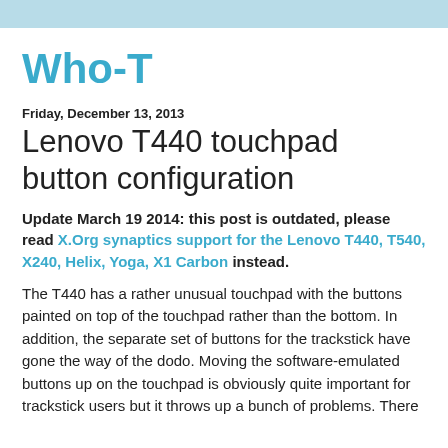Who-T
Friday, December 13, 2013
Lenovo T440 touchpad button configuration
Update March 19 2014: this post is outdated, please read X.Org synaptics support for the Lenovo T440, T540, X240, Helix, Yoga, X1 Carbon instead.
The T440 has a rather unusual touchpad with the buttons painted on top of the touchpad rather than the bottom. In addition, the separate set of buttons for the trackstick have gone the way of the dodo. Moving the software-emulated buttons up on the touchpad is obviously quite important for trackstick users but it throws up a bunch of problems. There